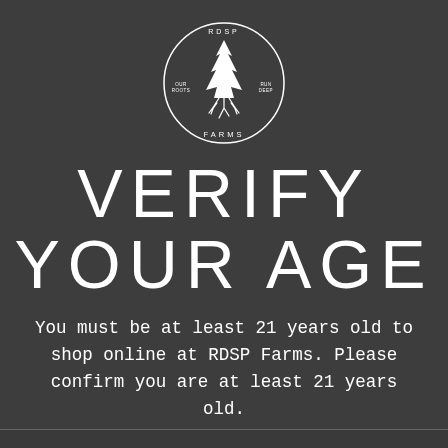[Figure (logo): RDSP Farms circular logo with a pine tree and roots illustration, text 'OUR ROOTS RUN DEEP' and 'RDSP FARMS' around the circle]
VERIFY YOUR AGE
You must be at least 21 years old to shop online at RDSP Farms. Please confirm you are at least 21 years old.